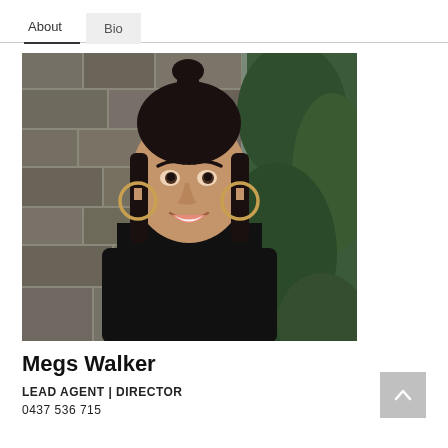About | Bio
[Figure (photo): Professional headshot of Megs Walker, a woman with dark hair in a high ponytail, wearing a black outfit, smiling, with hoop earrings, against a stone and greenery background.]
Megs Walker
LEAD AGENT | DIRECTOR
0437 536 715